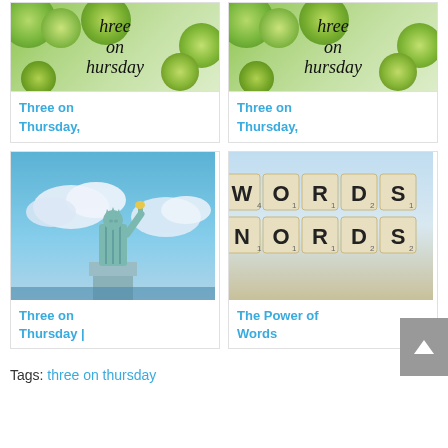[Figure (photo): Green leaves background with 'Three on Thursday' text overlay]
[Figure (photo): Green leaves background with 'Three on Thursday' text overlay (second)]
Three on Thursday,
Three on Thursday,
[Figure (photo): Statue of Liberty against blue cloudy sky]
[Figure (photo): Scrabble tiles spelling WORDS]
Three on Thursday |
The Power of Words
Tags: three on thursday